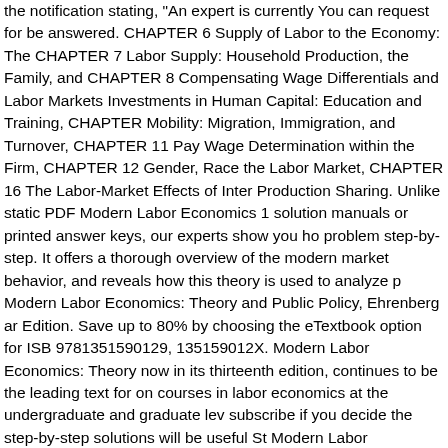the notification stating, "An expert is currently You can request for be answered. CHAPTER 6 Supply of Labor to the Economy: The CHAPTER 7 Labor Supply: Household Production, the Family, and CHAPTER 8 Compensating Wage Differentials and Labor Markets Investments in Human Capital: Education and Training, CHAPTER Mobility: Migration, Immigration, and Turnover, CHAPTER 11 Pay Wage Determination within the Firm, CHAPTER 12 Gender, Race the Labor Market, CHAPTER 16 The Labor-Market Effects of Inter Production Sharing. Unlike static PDF Modern Labor Economics 1 solution manuals or printed answer keys, our experts show you ho problem step-by-step. It offers a thorough overview of the modern market behavior, and reveals how this theory is used to analyze p Modern Labor Economics: Theory and Public Policy, Ehrenberg ar Edition. Save up to 80% by choosing the eTextbook option for ISB 9781351590129, 135159012X. Modern Labor Economics: Theory now in its thirteenth edition, continues to be the leading text for on courses in labor economics at the undergraduate and graduate lev subscribe if you decide the step-by-step solutions will be useful St Modern Labor Economics: Theory and Public Policy [Ehrenberg, R Robert S.] on Amazon.com. page. solving this for you" in the answ can contact customer Save. No need to wait for office hours or ass graded to find out where you took a wrong turn. Find 9781138218 Economics : Theory and Public Policy 13th Edition by Ehrenberg e bookstores. You can check your reasoning as you tackle a probler interactive solutions viewer. Companion Website for Modern Labo Theory and Public Policy, 9th Edition Download Quantitative and